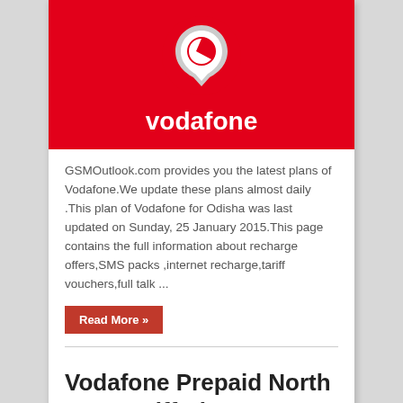[Figure (logo): Vodafone logo on red background with white Vodafone wordmark]
GSMOutlook.com provides you the latest plans of Vodafone.We update these plans almost daily .This plan of Vodafone for Odisha was last updated on Sunday, 25 January 2015.This page contains the full information about recharge offers,SMS packs ,internet recharge,tariff vouchers,full talk ...
Read More »
Vodafone Prepaid North East Tariff Plans ,Internet Recharge,SMS Packs